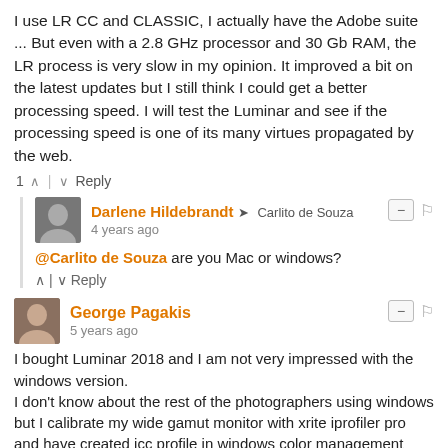I use LR CC and CLASSIC, I actually have the Adobe suite ... But even with a 2.8 GHz processor and 30 Gb RAM, the LR process is very slow in my opinion. It improved a bit on the latest updates but I still think I could get a better processing speed. I will test the Luminar and see if the processing speed is one of its many virtues propagated by the web.
1 ∧ | ∨ Reply
Darlene Hildebrandt → Carlito de Souza
4 years ago
@Carlito de Souza are you Mac or windows?
∧ | ∨ Reply
George Pagakis
5 years ago
I bought Luminar 2018 and I am not very impressed with the windows version.
I don't know about the rest of the photographers using windows but I calibrate my wide gamut monitor with xrite iprofiler pro and have created icc profile in windows color management which Adobe products use to accurately show the colors of a RAW file.